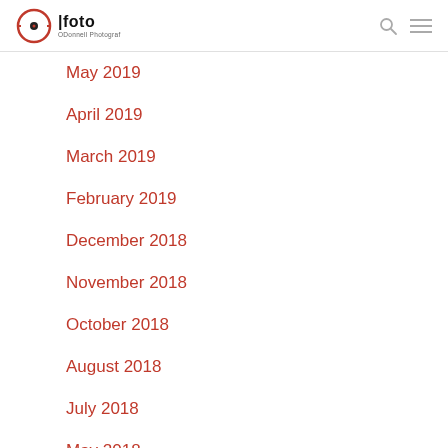O|foto ODonnell Photograf
May 2019
April 2019
March 2019
February 2019
December 2018
November 2018
October 2018
August 2018
July 2018
May 2018